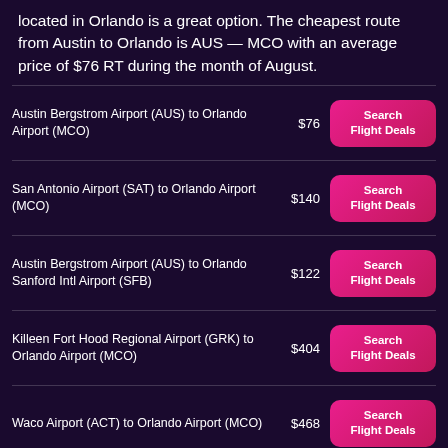located in Orlando is a great option. The cheapest route from Austin to Orlando is AUS — MCO with an average price of $76 RT during the month of August.
| Route | Price | Action |
| --- | --- | --- |
| Austin Bergstrom Airport (AUS) to Orlando Airport (MCO) | $76 | Search Flight Deals |
| San Antonio Airport (SAT) to Orlando Airport (MCO) | $140 | Search Flight Deals |
| Austin Bergstrom Airport (AUS) to Orlando Sanford Intl Airport (SFB) | $122 | Search Flight Deals |
| Killeen Fort Hood Regional Airport (GRK) to Orlando Airport (MCO) | $404 | Search Flight Deals |
| Waco Airport (ACT) to Orlando Airport (MCO) | $468 | Search Flight Deals |
| College Station Easterwood Field Airport (CLL) to Orlando Airport (MCO) | $788 | Search Flight Deals |